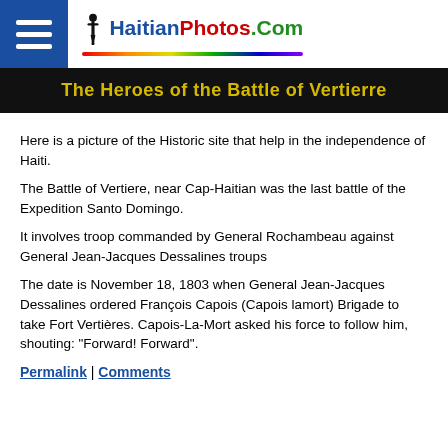HaitianPhotos.Com
The Heroes of the Battle of Vertierre
Here is a picture of the Historic site that help in the independence of Haiti.
The Battle of Vertiere, near Cap-Haitian was the last battle of the Expedition Santo Domingo.
It involves troop commanded by General Rochambeau against General Jean-Jacques Dessalines troups
The date is November 18, 1803 when General Jean-Jacques Dessalines ordered François Capois (Capois lamort) Brigade to take Fort Vertières. Capois-La-Mort asked his force to follow him, shouting: "Forward! Forward".
Permalink | Comments